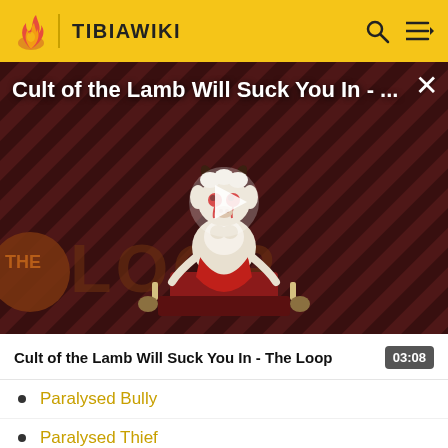TIBIAWIKI
[Figure (screenshot): Video thumbnail for 'Cult of the Lamb Will Suck You In - The Loop' showing a cartoon lamb character on a red throne with diagonal stripe background. Shows THE LOOP text in lower left and a play button in center. Duration 03:08.]
Cult of the Lamb Will Suck You In - The Loop
Paralysed Bully
Paralysed Thief
Pile of Dry Wood
Pile of Scrolls (Ambassador)